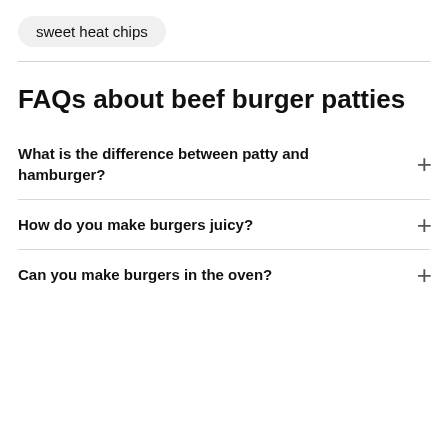sweet heat chips
FAQs about beef burger patties
What is the difference between patty and hamburger?
How do you make burgers juicy?
Can you make burgers in the oven?